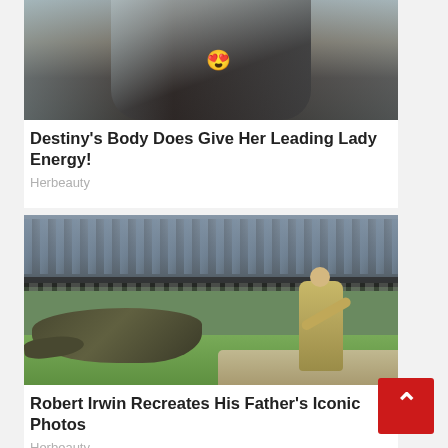[Figure (photo): Partial image of a woman in a black top with a heart-eyes emoji overlaid on her chest]
Destiny's Body Does Give Her Leading Lady Energy!
Herbeauty
[Figure (photo): Robert Irwin interacting with a crocodile in an arena with a crowd watching in the background]
Robert Irwin Recreates His Father's Iconic Photos
Herbeauty